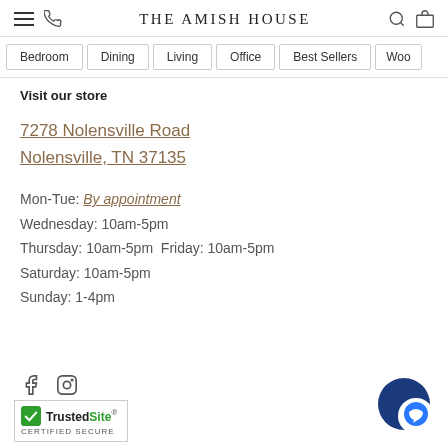THE AMISH HOUSE
Bedroom
Dining
Living
Office
Best Sellers
Woo...
Visit our store
7278 Nolensville Road
Nolensville, TN 37135
Mon-Tue: By appointment
Wednesday: 10am-5pm
Thursday: 10am-5pm Friday: 10am-5pm
Saturday: 10am-5pm
Sunday: 1-4pm
[Figure (logo): TrustedSite Certified Secure badge with green checkmark]
[Figure (other): Chat support bubble icon, blue and white]